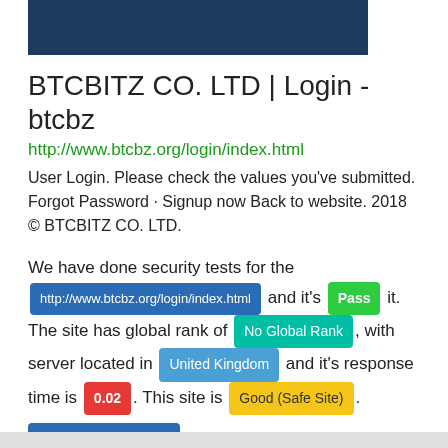[Figure (other): Dark navy blue rectangular header banner]
BTCBITZ CO. LTD | Login - btcbz
http://www.btcbz.org/login/index.html
User Login. Please check the values you've submitted. Forgot Password · Signup now Back to website. 2018 © BTCBITZ CO. LTD.
We have done security tests for the http://www.btcbz.org/login/index.html and it's Pass it. The site has global rank of No Global Rank , with server located in United Kingdom and it's response time is 0.02 . This site is Good (Safe Site) .
More Info